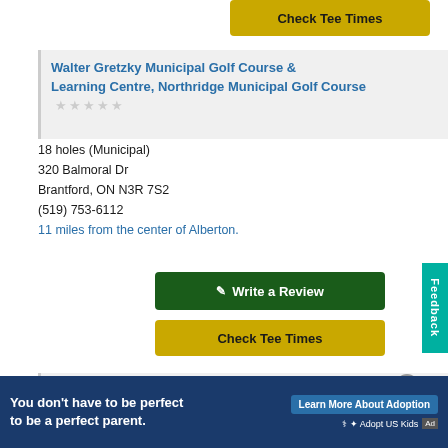[Figure (screenshot): Check Tee Times button (gold/yellow)]
Walter Gretzky Municipal Golf Course & Learning Centre, Northridge Municipal Golf Course ☆☆☆☆☆
18 holes (Municipal)
320 Balmoral Dr
Brantford, ON N3R 7S2
(519) 753-6112
11 miles from the center of Alberton.
[Figure (screenshot): Write a Review button (dark green)]
[Figure (screenshot): Check Tee Times button (gold/yellow)]
MontHill Golf & Country Club, MontHill Golf & C.C. Course 📌 ☆☆☆☆☆
27 holes (Private)
[Figure (screenshot): Adoption advertisement banner: You don't have to be perfect to be a perfect parent. Learn More About Adoption. Adopt US Kids.]